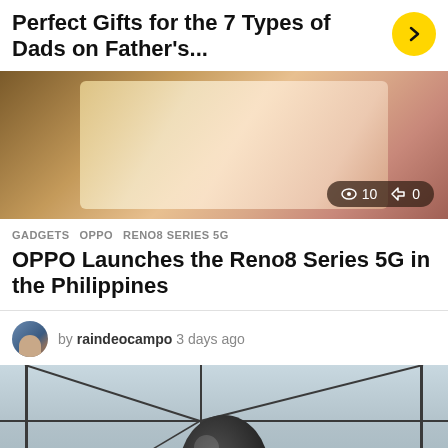Perfect Gifts for the 7 Types of Dads on Father's...
[Figure (photo): Close-up photo of a smartphone (likely OPPO) on a warm brown/tan surface, showing the device from the back at an angle. Stats overlay shows 10 views and 0 shares.]
GADGETS  OPPO  RENO8 SERIES 5G
OPPO Launches the Reno8 Series 5G in the Philippines
by raindeocampo 3 days ago
[Figure (photo): Photo of audio equipment in a room with grid-patterned walls. A large round dark speaker is centered, with a smaller black speaker box on the left side.]